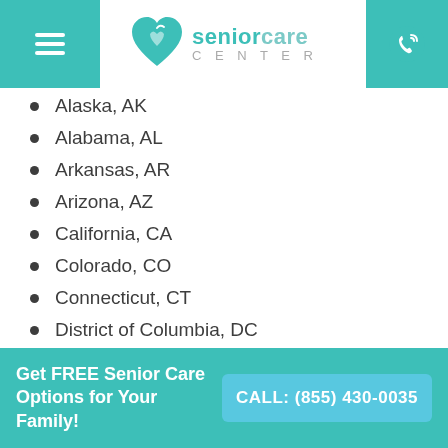[Figure (logo): Senior Care Center logo with teal heart icon and text]
Alaska, AK
Alabama, AL
Arkansas, AR
Arizona, AZ
California, CA
Colorado, CO
Connecticut, CT
District of Columbia, DC
Delaware, DE
Florida, FL
Georgia, GA
Hawaii, HI
Iowa, IA
Idaho, ID
Illinois, IL
Get FREE Senior Care Options for Your Family! CALL: (855) 430-0035